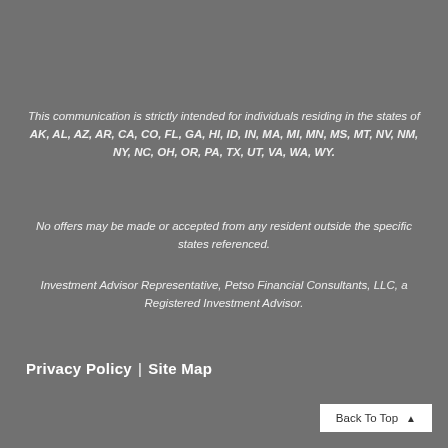This communication is strictly intended for individuals residing in the states of AK, AL, AZ, AR, CA, CO, FL, GA, HI, ID, IN, MA, MI, MN, MS, MT, NV, NM, NY, NC, OH, OR, PA, TX, UT, VA, WA, WY.
No offers may be made or accepted from any resident outside the specific states referenced.
Investment Advisor Representative, Petso Financial Consultants, LLC, a Registered Investment Advisor.
Privacy Policy | Site Map
Back To Top